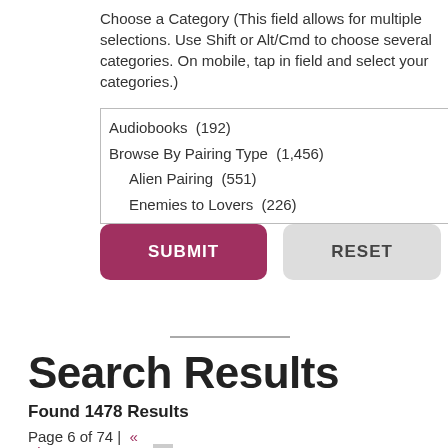Choose a Category (This field allows for multiple selections. Use Shift or Alt/Cmd to choose several categories. On mobile, tap in field and select your categories.)
Audiobooks  (192)
Browse By Pairing Type  (1,456)
Alien Pairing  (551)
Enemies to Lovers  (226)
SUBMIT
RESET
Search Results
Found 1478 Results
Page 6 of 74 |  «
First  «  ...  3  4  5  6  7  8  9  10  ...  20  30